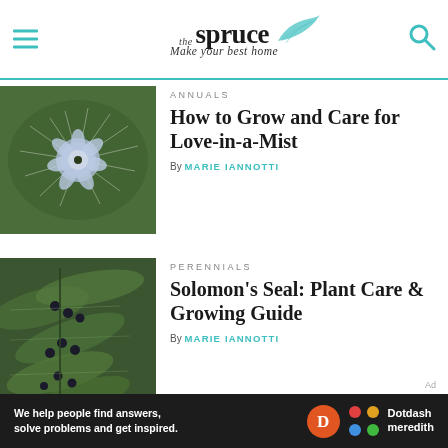the spruce — Make your best home
[Figure (photo): Close-up of a blue Love-in-a-Mist flower with wispy feathery bracts against a green background]
ANNUALS
How to Grow and Care for Love-in-a-Mist
By MARIE IANNOTTI
[Figure (photo): Solomon's Seal plant with green elongated leaves and small dark berries hanging from the branches]
PERENNIALS
Solomon's Seal: Plant Care & Growing Guide
By MARIE IANNOTTI
Ad
[Figure (screenshot): Dotdash Meredith advertisement banner: We help people find answers, solve problems and get inspired.]